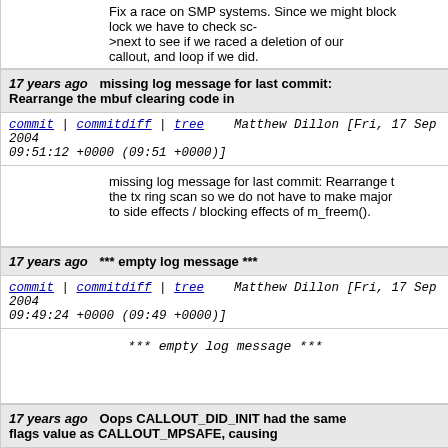Fix a race on SMP systems. Since we might block on the lock we have to check sc->next to see if we raced a deletion of our callout, and loop if we did.
17 years ago   missing log message for last commit: Rearrange the mbuf clearing code in
commit | commitdiff | tree   Matthew Dillon [Fri, 17 Sep 2004 09:51:12 +0000 (09:51 +0000)]
missing log message for last commit: Rearrange the tx ring scan so we do not have to make major to side effects / blocking effects of m_freem().
17 years ago   *** empty log message ***
commit | commitdiff | tree   Matthew Dillon [Fri, 17 Sep 2004 09:49:24 +0000 (09:49 +0000)]
*** empty log message ***
17 years ago   Oops CALLOUT_DID_INIT had the same flags value as CALLOUT_MPSAFE, causing
commit | commitdiff | tree   Matthew Dillon [Fri, 17 Sep 2004 09:34:54 +0000 (09:34 +0000)]
Oops CALLOUT_DID_INIT had the same flags va...